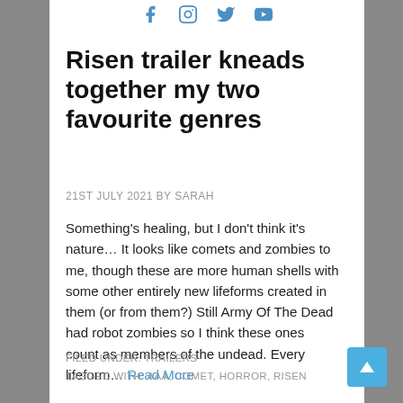Social media icons (Facebook, Instagram, Twitter, YouTube)
Risen trailer kneads together my two favourite genres
21ST JULY 2021 BY SARAH
Something's healing, but I don't think it's nature… It looks like comets and zombies to me, though these are more human shells with some other entirely new lifeforms created in them (or from them?) Still Army Of The Dead had robot zombies so I think these ones count as members of the undead. Every lifeform… Read More
FILED UNDER: TRAILERS
TAGGED WITH: AAA, COMET, HORROR, RISEN